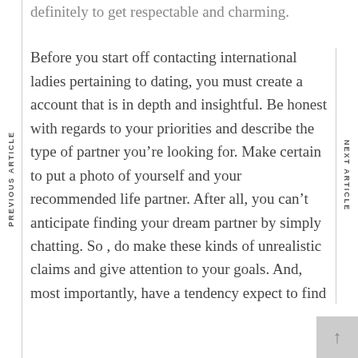definitely to get respectable and charming.
Before you start off contacting international ladies pertaining to dating, you must create a account that is in depth and insightful. Be honest with regards to your priorities and describe the type of partner you’re looking for. Make certain to put a photo of yourself and your recommended life partner. After all, you can’t anticipate finding your dream partner by simply chatting. So , do make these kinds of unrealistic claims and give attention to your goals. And, most importantly, have a tendency expect to find
PREVIOUS ARTICLE
NEXT ARTICLE